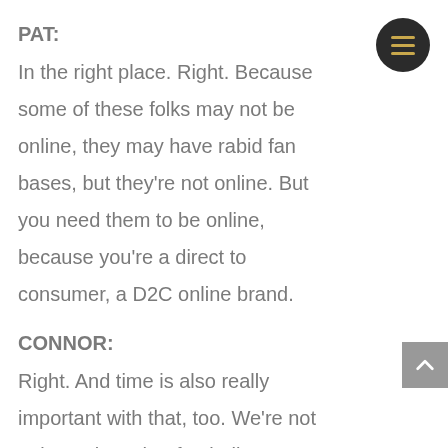PAT:
In the right place. Right. Because some of these folks may not be online, they may have rabid fan bases, but they're not online. But you need them to be online, because you're a direct to consumer, a D2C online brand.
CONNOR:
Right. And time is also really important with that, too. We're not going to launch a football